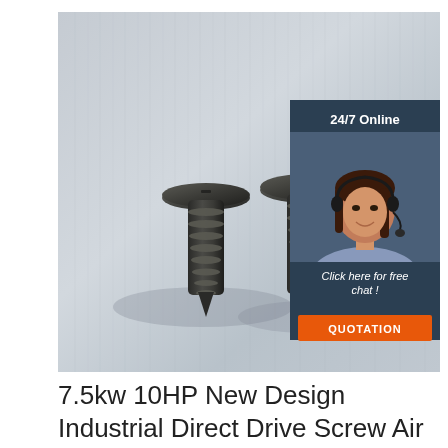[Figure (photo): Three dark/black metal self-tapping screws lying on a brushed metallic silver surface. The screws have flat/pan heads and coarse threads. Overlaid in the top-right corner is an advertisement panel with '24/7 Online' text, a photo of a smiling female customer service representative wearing a headset, 'Click here for free chat!' text, and an orange 'QUOTATION' button.]
7.5kw 10HP New Design Industrial Direct Drive Screw Air